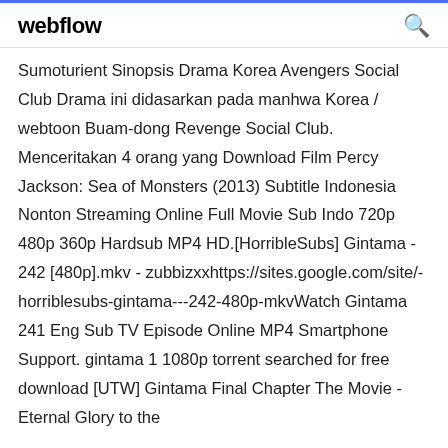webflow
Sumoturient Sinopsis Drama Korea Avengers Social Club Drama ini didasarkan pada manhwa Korea / webtoon Buam-dong Revenge Social Club. Menceritakan 4 orang yang Download Film Percy Jackson: Sea of Monsters (2013) Subtitle Indonesia Nonton Streaming Online Full Movie Sub Indo 720p 480p 360p Hardsub MP4 HD.[HorribleSubs] Gintama - 242 [480p].mkv - zubbizxxhttps://sites.google.com/site/-horriblesubs-gintama---242-480p-mkvWatch Gintama 241 Eng Sub TV Episode Online MP4 Smartphone Support. gintama 1 1080p torrent searched for free download [UTW] Gintama Final Chapter The Movie - Eternal Glory to the